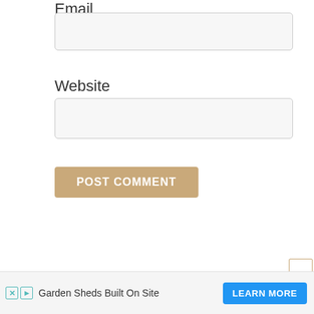Email
[Figure (other): Email text input field (empty, light gray background with rounded border)]
Website
[Figure (other): Website text input field (empty, light gray background with rounded border)]
POST COMMENT
Garden Sheds Built On Site
LEARN MORE